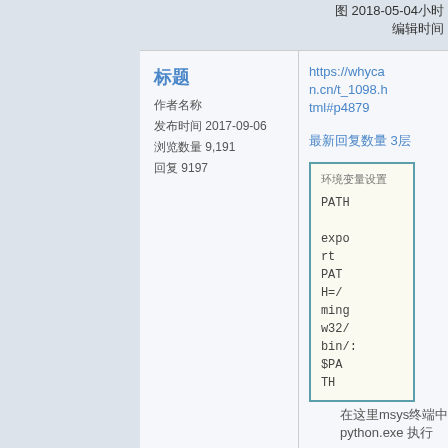2018-03-04□□□□□
□□
□□□
□□□□□ 2017-09-06
□□□□□ 9,191
□□□ 9197
https://whycan.cn/t_1098.html#p4879
□□□□□□□□ 3□
[Figure (screenshot): Code box showing: PATH and export PATH=/mingw32/bin/:$PATH]
□□□□msys□□□□
python.exe □□